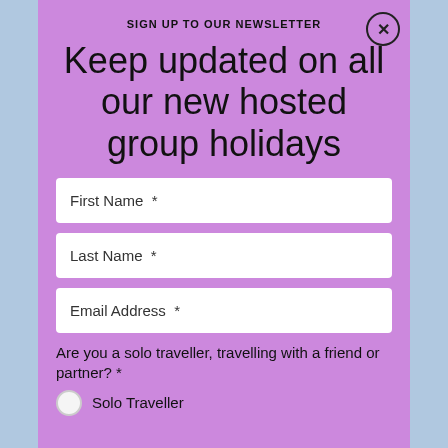SIGN UP TO OUR NEWSLETTER
Keep updated on all our new hosted group holidays
First Name *
Last Name *
Email Address *
Are you a solo traveller, travelling with a friend or partner? *
Solo Traveller